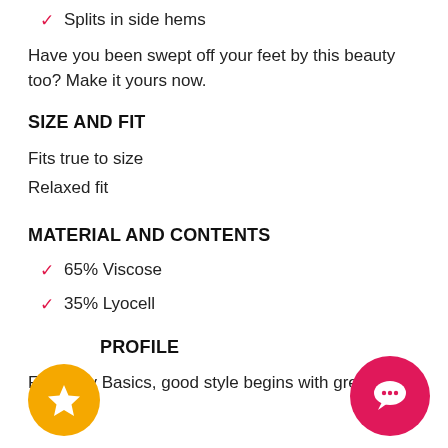Splits in side hems
Have you been swept off your feet by this beauty too? Make it yours now.
SIZE AND FIT
Fits true to size
Relaxed fit
MATERIAL AND CONTENTS
65% Viscose
35% Lyocell
BRAND PROFILE
For Betty Basics, good style begins with great,